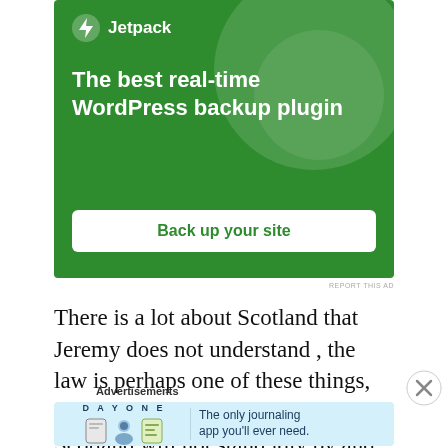[Figure (illustration): Jetpack WordPress plugin advertisement. Green background with large circle decorations. Jetpack logo (lightning bolt icon) and name at top left. Headline: 'The best real-time WordPress backup plugin'. White rounded button: 'Back up your site'.]
REPORT THIS AD
There is a lot about Scotland that Jeremy does not understand , the law is perhaps one of these things, and the other is that the people of Scotland will not stand idly by and allow an
Advertisements
[Figure (illustration): Day One journaling app advertisement. Light blue background. 'DAY ONE' text in spaced letters at top. Three illustrated icons (book, person, notepad). Text: 'The only journaling app you'll ever need.']